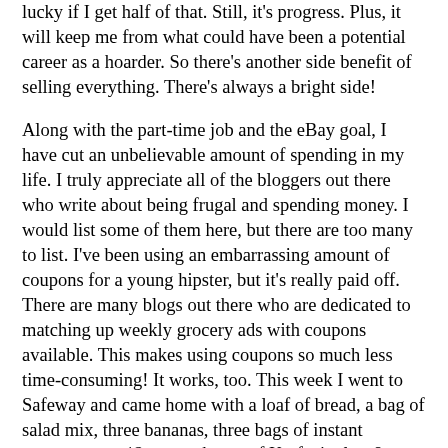lucky if I get half of that. Still, it's progress. Plus, it will keep me from what could have been a potential career as a hoarder. So there's another side benefit of selling everything. There's always a bright side!
Along with the part-time job and the eBay goal, I have cut an unbelievable amount of spending in my life. I truly appreciate all of the bloggers out there who write about being frugal and spending money. I would list some of them here, but there are too many to list. I've been using an embarrassing amount of coupons for a young hipster, but it's really paid off. There are many blogs out there who are dedicated to matching up weekly grocery ads with coupons available. This makes using coupons so much less time-consuming! It works, too. This week I went to Safeway and came home with a loaf of bread, a bag of salad mix, three bananas, three bags of instant potatoes, two 12-oz. packages of Kraft singles, 8 individually wrapped packages of Lance crackers, 10-oz. Teriyaki sauce, four 8-oz. bags of Teddy Grahams, and a box of frozen pretzels for a total of $11.57. According to the receipt, I saved $25.60 between sale items and coupons. It's kind of amazing to see how much money you can save, but it